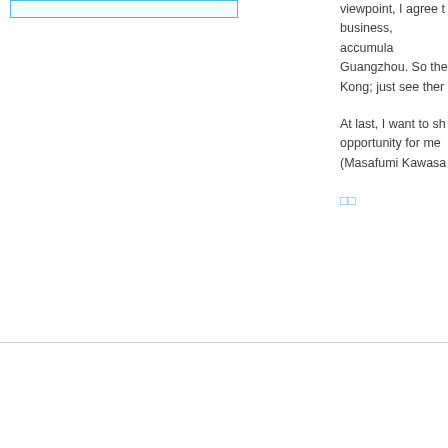[Figure (other): Blue bordered box in left column at top of page]
viewpoint, I agree that business, accumula Guangzhou. So the Kong; just see ther
At last, I want to sh opportunity for me (Masafumi Kawasa
□□